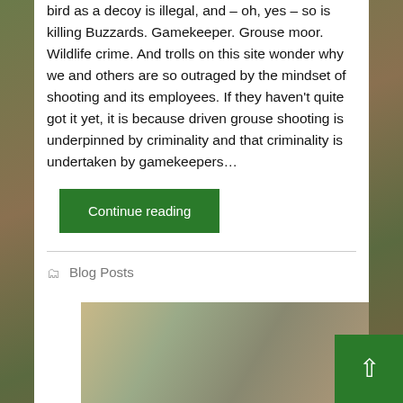bird as a decoy is illegal, and – oh, yes – so is killing Buzzards. Gamekeeper. Grouse moor. Wildlife crime. And trolls on this site wonder why we and others are so outraged by the mindset of shooting and its employees. If they haven't quite got it yet, it is because driven grouse shooting is underpinned by criminality and that criminality is undertaken by gamekeepers…
Continue reading
Blog Posts
[Figure (photo): A close-up photograph of what appears to be deer or similar wildlife animals]